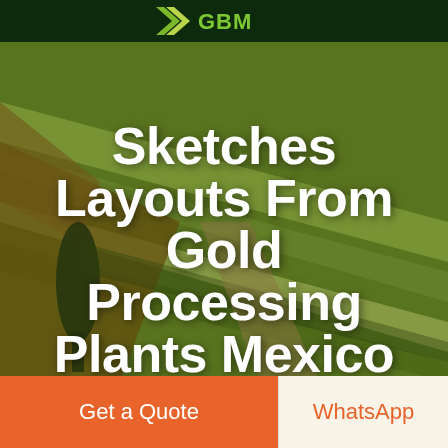GBM
[Figure (screenshot): Green navigation bar with hamburger menu icon on right side]
[Figure (photo): Aerial photograph of agricultural fields with warm sunset tones, green and golden stripes of farmland]
Sketches Layouts From Gold Processing Plants Mexico
Get a Quote
WhatsApp